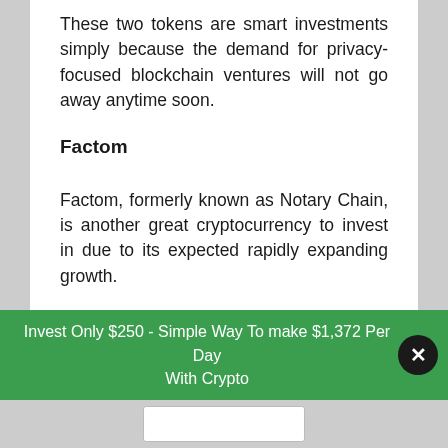These two tokens are smart investments simply because the demand for privacy-focused blockchain ventures will not go away anytime soon.
Factom
Factom, formerly known as Notary Chain, is another great cryptocurrency to invest in due to its expected rapidly expanding growth.
So, what makes Factom unique? Factom essentially allows companies to create immutable databases that can provide them with a variety of advantages.
Invest Only $250 - Simple Way To make $1,372 Per Day With Crypto